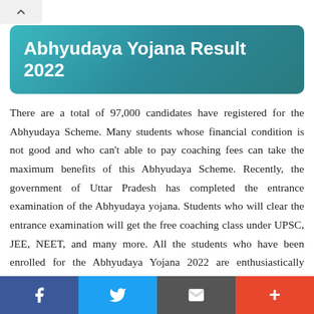Abhyudaya Yojana Result 2022
There are a total of 97,000 candidates have registered for the Abhyudaya Scheme. Many students whose financial condition is not good and who can’t able to pay coaching fees can take the maximum benefits of this Abhyudaya Scheme. Recently, the government of Uttar Pradesh has completed the entrance examination of the Abhyudaya yojana. Students who will clear the entrance examination will get the free coaching class under UPSC, JEE, NEET, and many more. All the students who have been enrolled for the Abhyudaya Yojana 2022 are enthusiastically looking for the result via the official site mentioned below. Now the wait is over. the Uttar Pradesh Government has released the
f  •  Twitter  •  Share  •  +